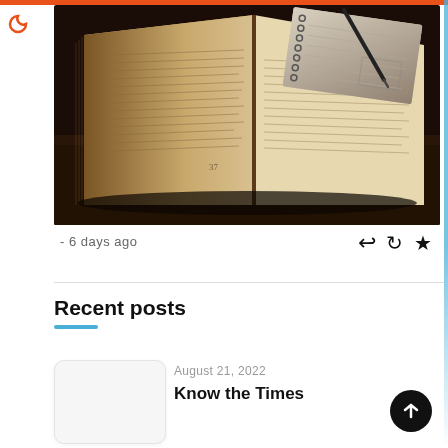[Figure (photo): Open Bible/book with a spiral notebook and pen on top, photographed on a dark surface with warm brown tones]
- 6 days ago
[Figure (infographic): Action icons: reply arrow, retweet/share arrow, star/favorite]
Recent posts
[Figure (photo): Thumbnail placeholder image (white/light gray rounded rectangle)]
August 21, 2022
Know the Times